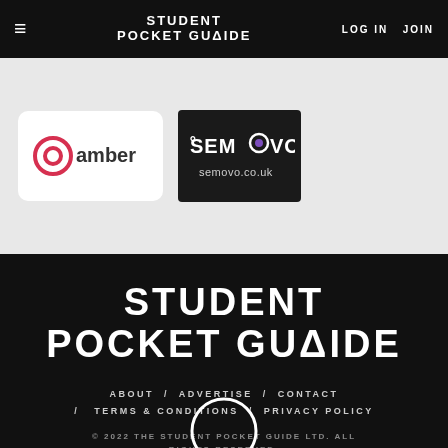≡   STUDENT POCKET GUIDE   LOG IN   JOIN
[Figure (logo): Amber brand logo with circular icon on white card background]
[Figure (logo): Semovo logo with purple icon and semovo.co.uk URL on dark background]
STUDENT POCKET GUIDE
ABOUT / ADVERTISE / CONTACT / TERMS & CONDITIONS / PRIVACY POLICY
© 2022 THE STUDENT POCKET GUIDE LTD. ALL RIGHTS RESERVED.